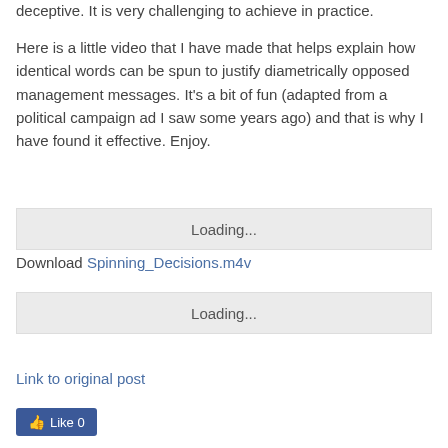deceptive. It is very challenging to achieve in practice.
Here is a little video that I have made that helps explain how identical words can be spun to justify diametrically opposed management messages. It's a bit of fun (adapted from a political campaign ad I saw some years ago) and that is why I have found it effective. Enjoy.
[Figure (other): Loading... video embed placeholder box]
Download Spinning_Decisions.m4v
[Figure (other): Loading... video embed placeholder box]
Link to original post
Like 0 (Facebook Like button)